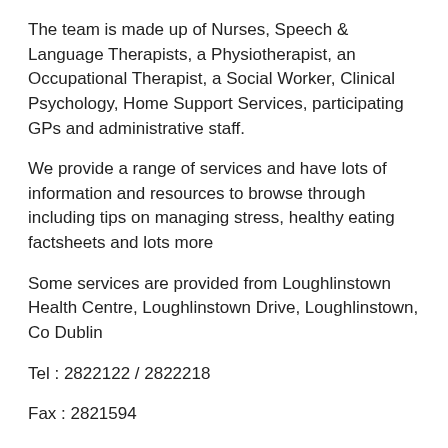The team is made up of Nurses, Speech & Language Therapists, a Physiotherapist, an Occupational Therapist, a Social Worker, Clinical Psychology, Home Support Services, participating GPs and administrative staff.
We provide a range of services and have lots of information and resources to browse through including tips on managing stress, healthy eating factsheets and lots more
Some services are provided from Loughlinstown Health Centre, Loughlinstown Drive, Loughlinstown, Co Dublin
Tel : 2822122 / 2822218
Fax : 2821594
LOCATION
Nursing
A Public Health and Community Nursing service provides a range of personal health and social care services to the community.
Occupational Therapy
Assistance with day-to-day living and independence skills